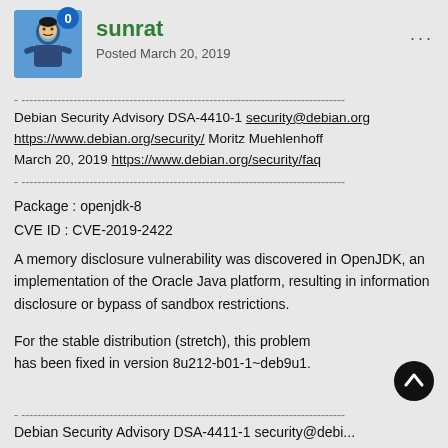[Figure (illustration): User avatar image showing a stylized figure, with a blue shield badge icon overlaid in top-right of avatar area, and username 'sunrat' in green bold text with post date 'Posted March 20, 2019' below it. Three dots menu icon at top right.]
- --------------------------------------------------------------------------------
Debian Security Advisory DSA-4410-1 security@debian.org
https://www.debian.org/security/ Moritz Muehlenhoff
March 20, 2019 https://www.debian.org/security/faq
- --------------------------------------------------------------------------------
Package : openjdk-8
CVE ID : CVE-2019-2422
A memory disclosure vulnerability was discovered in OpenJDK, an implementation of the Oracle Java platform, resulting in information disclosure or bypass of sandbox restrictions.
For the stable distribution (stretch), this problem has been fixed in version 8u212-b01-1~deb9u1.
- --------------------------------------------------------------------------------
Debian Security Advisory DSA-4411-1 security@debi...